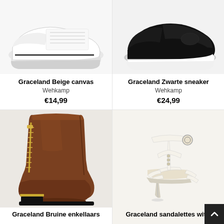[Figure (photo): White canvas sneaker/shoe viewed from side angle on white background]
Graceland Beige canvas
Wehkamp
€14,99
[Figure (photo): Black slip-on sneaker viewed from side angle on white background]
Graceland Zwarte sneaker
Wehkamp
€24,99
[Figure (photo): Brown leather ankle boot with gold zipper and gold heel trim on light grey background]
Graceland Bruine enkellaars
[Figure (photo): White strappy high-heel sandal with gold accents and T-bar design on light background]
Graceland sandalettes wit...